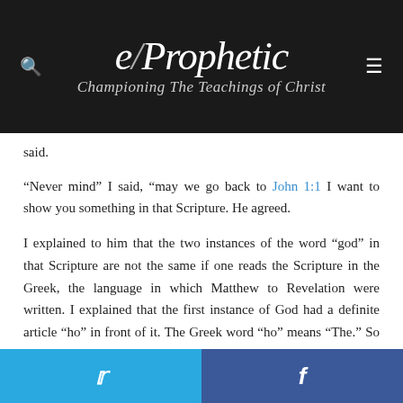e-Prophetic Championing The Teachings of Christ
said.
“Never mind” I said, “may we go back to John 1:1 I want to show you something in that Scripture. He agreed.
I explained to him that the two instances of the word “god” in that Scripture are not the same if one reads the Scripture in the Greek, the language in which Matthew to Revelation were written. I explained that the first instance of God had a definite article “ho” in front of it. The Greek word “ho” means “The.” So the first instance of God in John 1:1 would read “Ho Theos” or “The God.”
Twitter share | Facebook share